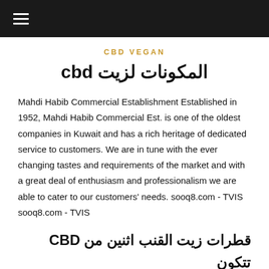☰
CBD VEGAN
المكونات لزيت cbd
Mahdi Habib Commercial Establishment Established in 1952, Mahdi Habib Commercial Est. is one of the oldest companies in Kuwait and has a rich heritage of dedicated service to customers. We are in tune with the ever changing tastes and requirements of the market and with a great deal of enthusiasm and professionalism we are able to cater to our customers' needs. sooq8.com - TVIS sooq8.com - TVIS
قطرات زيت القنب اثنين من CBD تتكون المكونات ال ئيسة - زيت بذور القنب